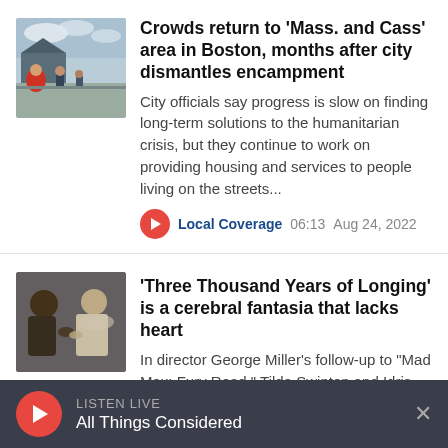[Figure (photo): Outdoor scene showing people gathered near tents, Boston encampment area]
Crowds return to 'Mass. and Cass' area in Boston, months after city dismantles encampment
City officials say progress is slow on finding long-term solutions to the humanitarian crisis, but they continue to work on providing housing and services to people living on the streets...
Local Coverage 06:13 Aug 24, 2022
[Figure (photo): Two people in close conversation, one wearing white robes, dimly lit scene]
'Three Thousand Years of Longing' is a cerebral fantasia that lacks heart
In director George Miller's follow-up to "Mad Max: Fury Road," Tilda Swinton and Idris Elba hang out in a hotel room
LISTEN LIVE All Things Considered